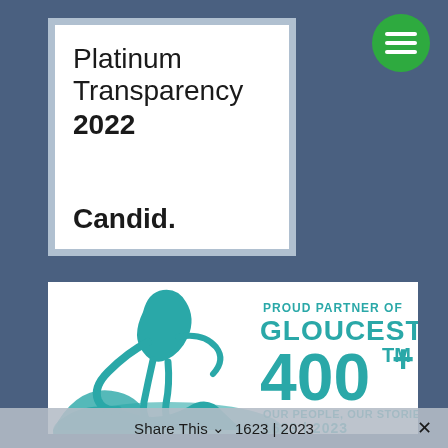[Figure (logo): Candid Platinum Transparency 2022 badge — white box with light blue/grey border, text reading 'Platinum Transparency 2022' and 'Candid.' in bold]
[Figure (logo): Green circle hamburger menu button with three white horizontal lines]
[Figure (logo): Gloucester 400+ logo on white background — teal/blue illustration of a fisherman on waves, text 'PROUD PARTNER OF GLOUCESTER 400+ TM OUR PEOPLE, OUR STORIES 1623 | 2023']
Share This 1623 | 2023